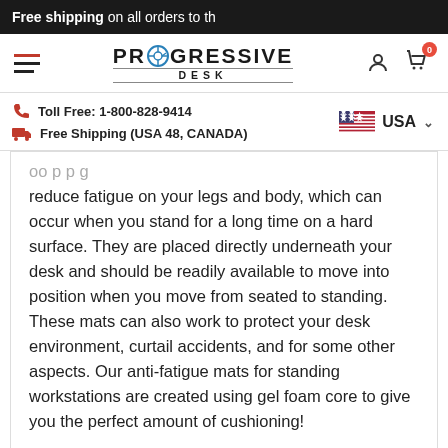Free shipping on all orders to th
[Figure (logo): Progressive Desk logo with hamburger menu, user icon, and cart icon with badge 0]
Toll Free: 1-800-828-9414
Free Shipping (USA 48, CANADA)
USA
reduce fatigue on your legs and body, which can occur when you stand for a long time on a hard surface. They are placed directly underneath your desk and should be readily available to move into position when you move from seated to standing. These mats can also work to protect your desk environment, curtail accidents, and for some other aspects. Our anti-fatigue mats for standing workstations are created using gel foam core to give you the perfect amount of cushioning!